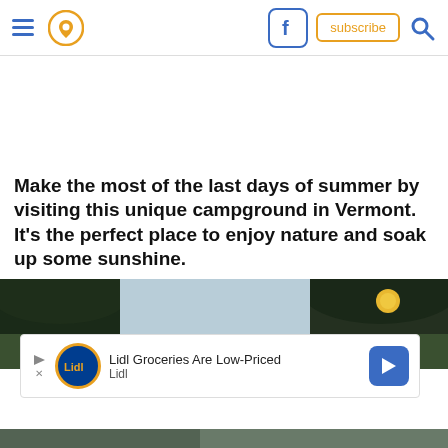Navigation header with hamburger menu, location pin icon, Facebook icon, subscribe button, and search icon
Make the most of the last days of summer by visiting this unique campground in Vermont. It's the perfect place to enjoy nature and soak up some sunshine.
[Figure (photo): Outdoor campground scene with trees and sky, Vermont landscape]
[Figure (other): Advertisement banner: Lidl Groceries Are Low-Priced, Lidl logo and navigation icon]
[Figure (photo): Bottom portion of Vermont campground landscape photo]